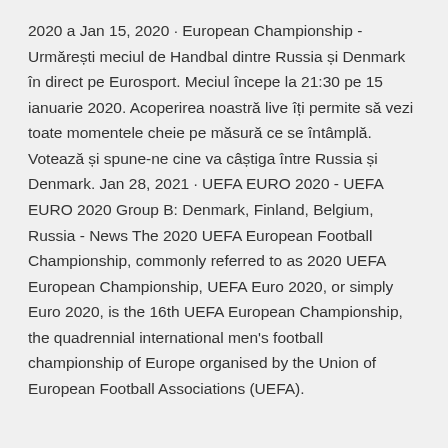2020 a Jan 15, 2020 · European Championship - Urmărești meciul de Handbal dintre Russia și Denmark în direct pe Eurosport. Meciul începe la 21:30 pe 15 ianuarie 2020. Acoperirea noastră live îți permite să vezi toate momentele cheie pe măsură ce se întâmplă. Votează și spune-ne cine va câștiga între Russia și Denmark. Jan 28, 2021 · UEFA EURO 2020 - UEFA EURO 2020 Group B: Denmark, Finland, Belgium, Russia - News The 2020 UEFA European Football Championship, commonly referred to as 2020 UEFA European Championship, UEFA Euro 2020, or simply Euro 2020, is the 16th UEFA European Championship, the quadrennial international men's football championship of Europe organised by the Union of European Football Associations (UEFA).